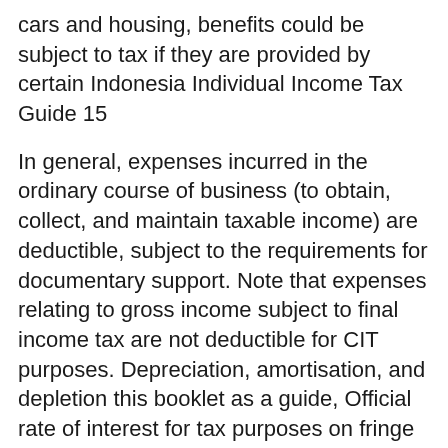cars and housing, benefits could be subject to tax if they are provided by certain Indonesia Individual Income Tax Guide 15
In general, expenses incurred in the ordinary course of business (to obtain, collect, and maintain taxable income) are deductible, subject to the requirements for documentary support. Note that expenses relating to gross income subject to final income tax are not deductible for CIT purposes. Depreciation, amortisation, and depletion this booklet as a guide, Official rate of interest for tax purposes on fringe benefits
osman.mollagee@za.pwc.com Tax